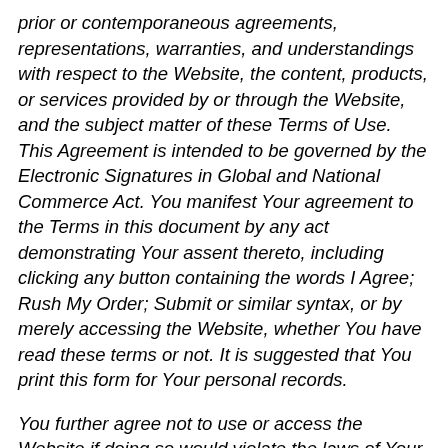prior or contemporaneous agreements, representations, warranties, and understandings with respect to the Website, the content, products, or services provided by or through the Website, and the subject matter of these Terms of Use. This Agreement is intended to be governed by the Electronic Signatures in Global and National Commerce Act. You manifest Your agreement to the Terms in this document by any act demonstrating Your assent thereto, including clicking any button containing the words I Agree; Rush My Order; Submit or similar syntax, or by merely accessing the Website, whether You have read these terms or not. It is suggested that You print this form for Your personal records.
You further agree not to use or access the Website if doing so would violate the laws of Your state, province or country. At the bottom of this page you can elect to ratified...